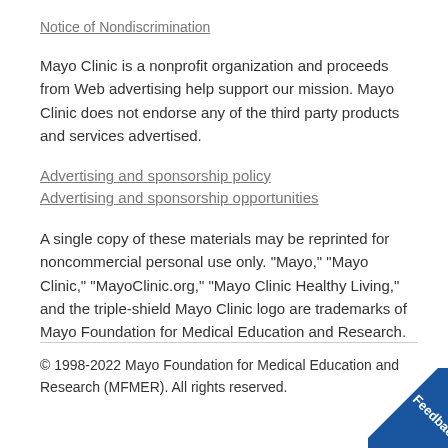Notice of Nondiscrimination
Mayo Clinic is a nonprofit organization and proceeds from Web advertising help support our mission. Mayo Clinic does not endorse any of the third party products and services advertised.
Advertising and sponsorship policy
Advertising and sponsorship opportunities
A single copy of these materials may be reprinted for noncommercial personal use only. "Mayo," "Mayo Clinic," "MayoClinic.org," "Mayo Clinic Healthy Living," and the triple-shield Mayo Clinic logo are trademarks of Mayo Foundation for Medical Education and Research.
© 1998-2022 Mayo Foundation for Medical Education and Research (MFMER). All rights reserved.